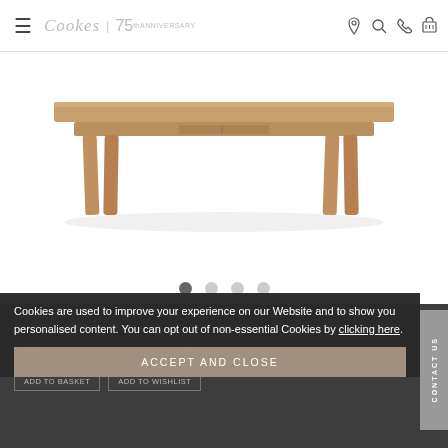Cookes 75th Anniversary — navigation header with hamburger menu, logo, location, search, phone, and basket icons
[Figure (photo): Wooden coffee table with mid-century modern style legs, shown from a slightly elevated angle. The table appears to be in a natural/walnut wood finish.]
● ○ ○ ○ (image carousel dots)
£1,431 £1,065
Available for home delivery. Check delivery options.
FINANCE CALCULATOR
Cookies are used to improve your experience on our Website and to show you personalised content. You can opt out of non-essential Cookies by clicking here.
ACCEPT AND CLOSE